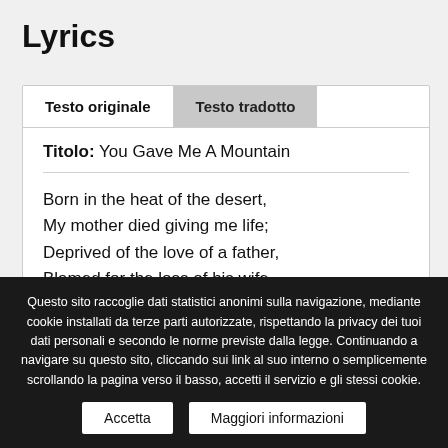Lyrics
Testo originale | Testo tradotto
Titolo: You Gave Me A Mountain
Born in the heat of the desert,
My mother died giving me life;
Deprived of the love of a father,
Blamed for the loss of his wife.
Questo sito raccoglie dati statistici anonimi sulla navigazione, mediante cookie installati da terze parti autorizzate, rispettando la privacy dei tuoi dati personali e secondo le norme previste dalla legge. Continuando a navigare su questo sito, cliccando sui link al suo interno o semplicemente scrollando la pagina verso il basso, accetti il servizio e gli stessi cookie.
Accetta | Maggiori informazioni